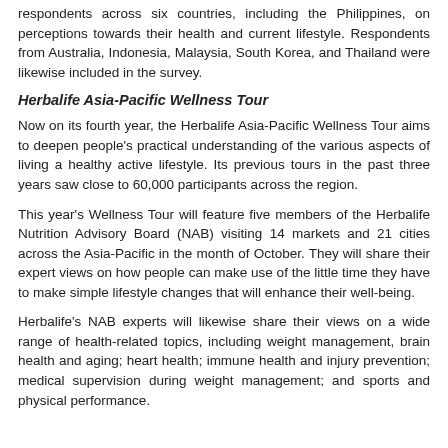respondents across six countries, including the Philippines, on perceptions towards their health and current lifestyle. Respondents from Australia, Indonesia, Malaysia, South Korea, and Thailand were likewise included in the survey.
Herbalife Asia-Pacific Wellness Tour
Now on its fourth year, the Herbalife Asia-Pacific Wellness Tour aims to deepen people's practical understanding of the various aspects of living a healthy active lifestyle. Its previous tours in the past three years saw close to 60,000 participants across the region.
This year's Wellness Tour will feature five members of the Herbalife Nutrition Advisory Board (NAB) visiting 14 markets and 21 cities across the Asia-Pacific in the month of October. They will share their expert views on how people can make use of the little time they have to make simple lifestyle changes that will enhance their well-being.
Herbalife's NAB experts will likewise share their views on a wide range of health-related topics, including weight management, brain health and aging; heart health; immune health and injury prevention; medical supervision during weight management; and sports and physical performance.